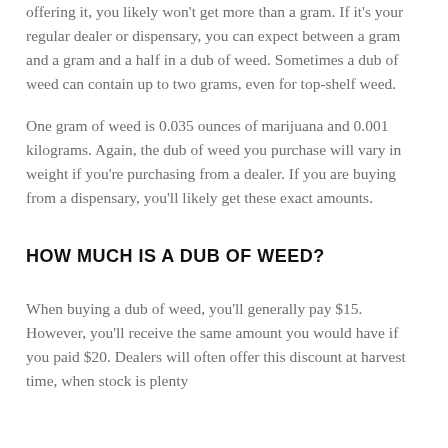offering it, you likely won't get more than a gram. If it's your regular dealer or dispensary, you can expect between a gram and a gram and a half in a dub of weed. Sometimes a dub of weed can contain up to two grams, even for top-shelf weed.
One gram of weed is 0.035 ounces of marijuana and 0.001 kilograms. Again, the dub of weed you purchase will vary in weight if you're purchasing from a dealer. If you are buying from a dispensary, you'll likely get these exact amounts.
HOW MUCH IS A DUB OF WEED?
When buying a dub of weed, you'll generally pay $15. However, you'll receive the same amount you would have if you paid $20. Dealers will often offer this discount at harvest time, when stock is plenty